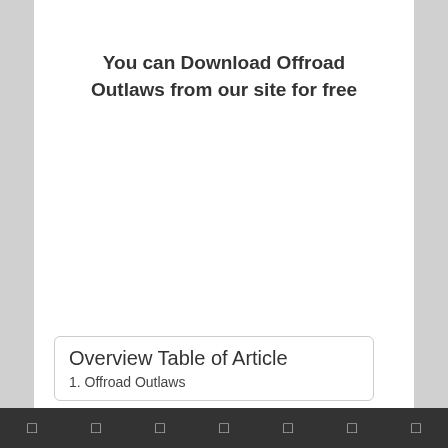You can Download Offroad Outlaws from our site for free
Overview Table of Article
1. Offroad Outlaws